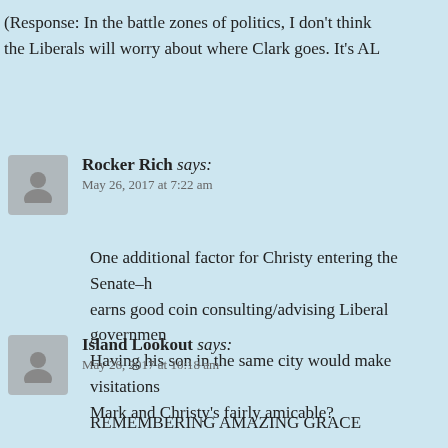(Response: In the battle zones of politics, I don't think the Liberals will worry about where Clark goes. It's AL
Rocker Rich says:
May 26, 2017 at 7:22 am
One additional factor for Christy entering the Senate–h earns good coin consulting/advising Liberal governmen Having his son in the same city would make visitations Mark and Christy's fairly amicable?
Island Lookout says:
May 26, 2017 at 10:18 am
REMEMBERING AMAZING GRACE